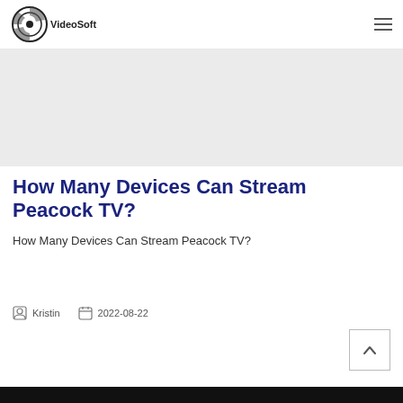VideoSoft
[Figure (other): Gray banner/advertisement placeholder area]
How Many Devices Can Stream Peacock TV?
How Many Devices Can Stream Peacock TV?
Kristin  2022-08-22